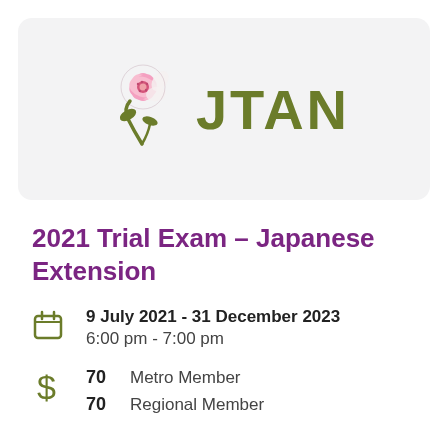[Figure (logo): JTAN logo with pink cherry blossom flower and green bold text reading JTAN]
2021 Trial Exam – Japanese Extension
9 July 2021 - 31 December 2023
6:00 pm - 7:00 pm
70  Metro Member
70  Regional Member